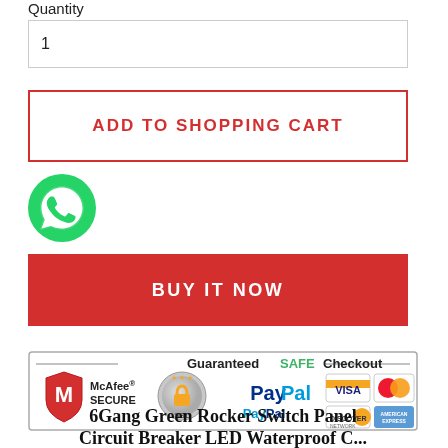Quantity
1
ADD TO SHOPPING CART
[Figure (logo): WhatsApp green circle logo with phone handset icon]
BUY IT NOW
[Figure (infographic): Guaranteed SAFE Checkout banner with McAfee SECURE, SSL lock, PayPal, Visa, MasterCard, Discover, American Express logos]
6Gang Green Rocker Switch Panel Circuit Breaker LED Waterproof C...